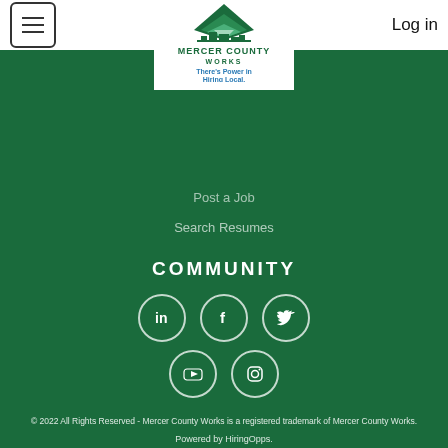Mercer County Works — Log in
[Figure (logo): Mercer County Works logo with tagline 'There's Power in Hiring Local.']
Post a Job
Search Resumes
COMMUNITY
[Figure (illustration): Social media icons: LinkedIn, Facebook, Twitter, YouTube, Instagram]
© 2022 All Rights Reserved - Mercer County Works is a registered trademark of Mercer County Works.
Powered by HiringOpps.